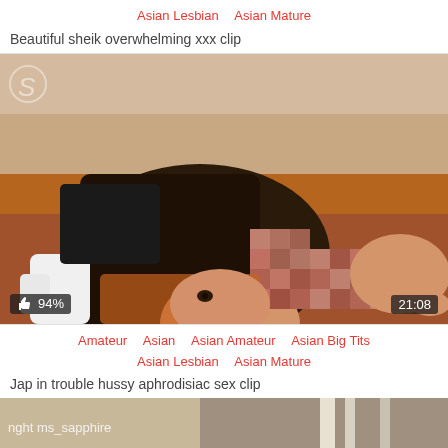Asian Lesbian   Asian Mature
Beautiful sheik overwhelming xxx clip
[Figure (photo): Video thumbnail showing a woman in maid costume with pixelated explicit content, 94% like rating, duration 21:08]
Amateur   Asian   Asian Amateur   Asian Big Tits   Asian Lesbian   Asian Mature
Jap in trouble hussy aphrodisiac sex clip
[Figure (photo): Partial video thumbnail showing bottom of next video with watermark 'nght ms_sapphire']